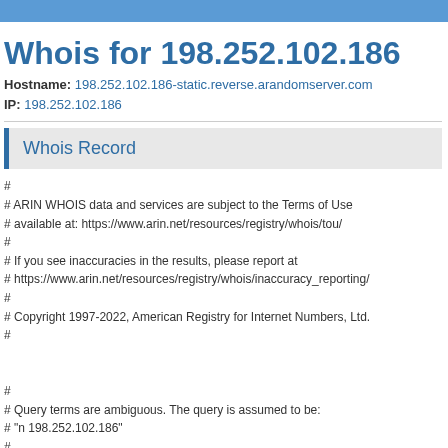Whois for 198.252.102.186
Hostname: 198.252.102.186-static.reverse.arandomserver.com
IP: 198.252.102.186
Whois Record
#
# ARIN WHOIS data and services are subject to the Terms of Use
# available at: https://www.arin.net/resources/registry/whois/tou/
#
# If you see inaccuracies in the results, please report at
# https://www.arin.net/resources/registry/whois/inaccuracy_reporting/
#
# Copyright 1997-2022, American Registry for Internet Numbers, Ltd.
#


#
# Query terms are ambiguous. The query is assumed to be:
# "n 198.252.102.186"
#
# Use "?" to get help.
#